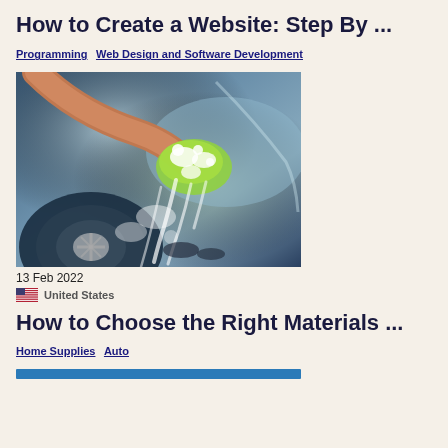How to Create a Website: Step By ...
Programming Web Design and Software Development
[Figure (photo): A person washing a car with a green sponge/mitt, with soap suds running down the side of a dark blue car, wheel visible in the lower left.]
13 Feb 2022
United States
How to Choose the Right Materials ...
Home Supplies Auto